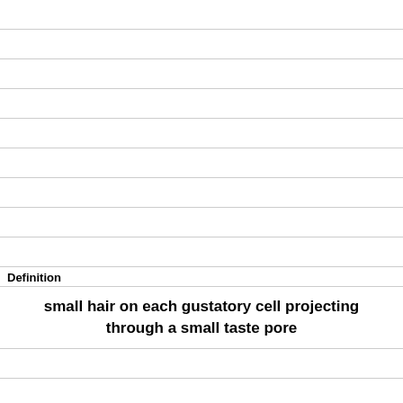Definition
small hair on each gustatory cell projecting through a small taste pore
Term
three nerves that carry sensory info from taste buds to brain